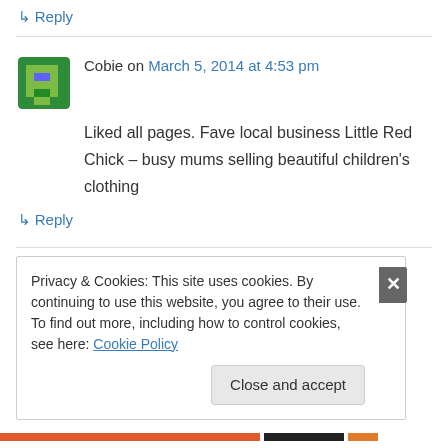↳ Reply
Cobie on March 5, 2014 at 4:53 pm
Liked all pages. Fave local business Little Red Chick – busy mums selling beautiful children's clothing
↳ Reply
Sonia on March 5, 2014 at 4:54 pm
Privacy & Cookies: This site uses cookies. By continuing to use this website, you agree to their use.
To find out more, including how to control cookies, see here: Cookie Policy
Close and accept